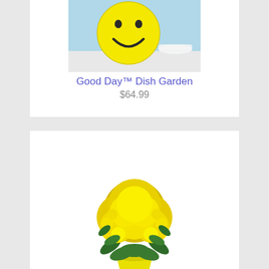[Figure (photo): Yellow smiley face dish garden planter on a light blue background]
Good Day™ Dish Garden
$64.99
[Figure (photo): Yellow kalanchoe plant with abundant small yellow flowers in a yellow pot]
Yellow Kalanchoe Plant
$44.99